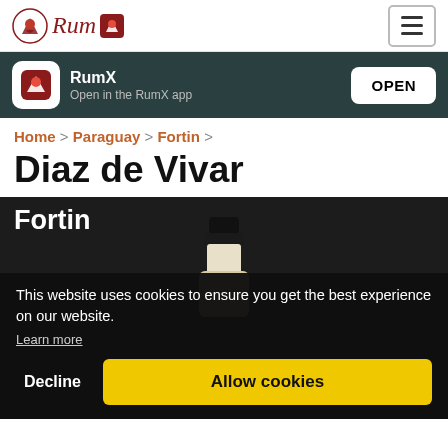Rum X
RumX
Open in the RumX app
OPEN
Home > Paraguay > Fortin >
Diaz de Vivar
[Figure (screenshot): Dark section showing 'Fortin' text and partial rum bottle image with cookie consent overlay. Overlay reads: 'This website uses cookies to ensure you get the best experience on our website. Learn more' with Decline and Allow cookies buttons.]